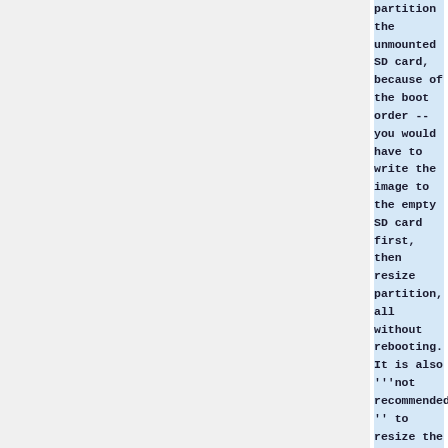partition the unmounted SD card, because of the boot order -- you would have to write the image to the empty SD card first, then resize partition, all without rebooting. It is also '''not recommended'' to resize the SD card while booted